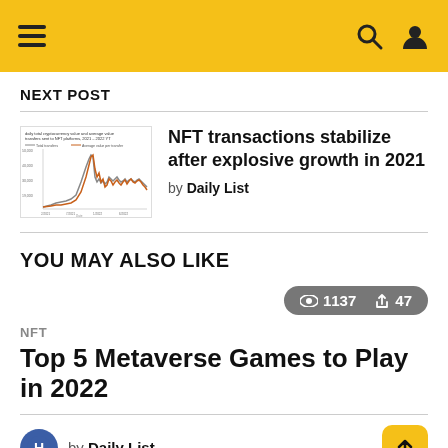Navigation header with hamburger menu, search and user icons
NEXT POST
[Figure (line-chart): Small thumbnail chart showing daily total cryptocurrency value and average value transfers to NFT platforms 2021-2022]
NFT transactions stabilize after explosive growth in 2021
by Daily List
YOU MAY ALSO LIKE
1137 views, 47 shares
NFT
Top 5 Metaverse Games to Play in 2022
by Daily List